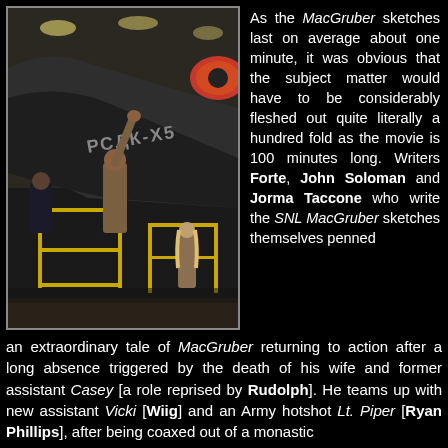[Figure (photo): Movie still showing actors in an industrial hangar with a large aircraft. One character reaches up to the underside of the wing marked with Cyrillic text. Other characters stand on scaffolding and walkways with yellow railings.]
As the MacGruber sketches last on average about one minute, it was obvious that the subject matter would have to be considerably fleshed out quite literally a hundred fold as the movie is 100 minutes long. Writers Forte, John Soloman and Jorma Taccone who write the SNL MacGruber sketches themselves penned an extraordinary tale of MacGruber returning to action after a long absence triggered by the death of his wife and former assistant Casey [a role reprised by Rudolph]. He teams up with new assistant Vicki [Wiig] and an Army hotshot Lt. Piper [Ryan Phillips], after being coaxed out of a monastic